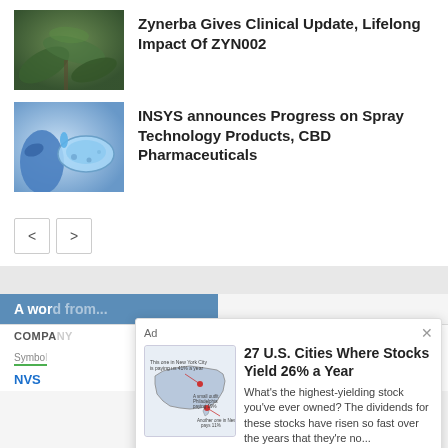[Figure (photo): Close-up photo of a cannabis plant with green leaves]
Zynerba Gives Clinical Update, Lifelong Impact Of ZYN002
[Figure (photo): Blue-gloved hand holding laboratory glassware with blue liquid]
INSYS announces Progress on Spray Technology Products, CBD Pharmaceuticals
[Figure (screenshot): Advertisement overlay: 27 U.S. Cities Where Stocks Yield 26% a Year with a US map image showing cities]
Ad
27 U.S. Cities Where Stocks Yield 26% a Year
What's the highest-yielding stock you've ever owned? The dividends for these stocks have risen so fast over the years that they're no...
Get in on the action here.